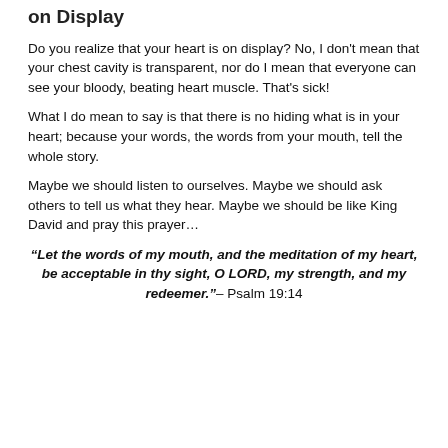on Display
Do you realize that your heart is on display? No, I don't mean that your chest cavity is transparent, nor do I mean that everyone can see your bloody, beating heart muscle. That's sick!
What I do mean to say is that there is no hiding what is in your heart; because your words, the words from your mouth, tell the whole story.
Maybe we should listen to ourselves. Maybe we should ask others to tell us what they hear. Maybe we should be like King David and pray this prayer…
“Let the words of my mouth, and the meditation of my heart, be acceptable in thy sight, O LORD, my strength, and my redeemer.”– Psalm 19:14